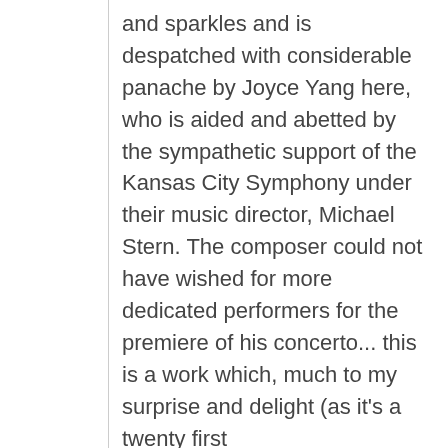and sparkles and is despatched with considerable panache by Joyce Yang here, who is aided and abetted by the sympathetic support of the Kansas City Symphony under their music director, Michael Stern. The composer could not have wished for more dedicated performers for the premiere of his concerto... this is a work which, much to my surprise and delight (as it's a twenty first